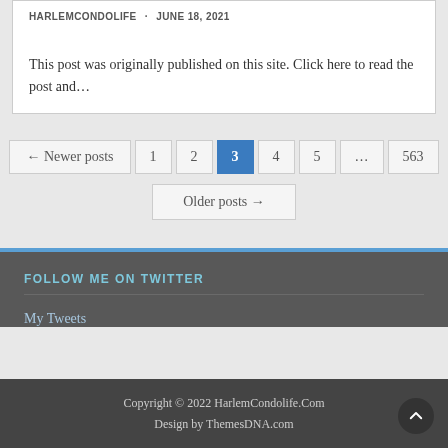HARLEMCONDOLIFE · JUNE 18, 2021
This post was originally published on this site. Click here to read the post and…
← Newer posts  1  2  3  4  5  ...  563
Older posts →
FOLLOW ME ON TWITTER
My Tweets
Copyright © 2022 HarlemCondolife.Com
Design by ThemesDNA.com